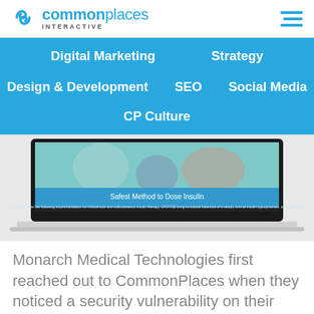commonplaces INTERACTIVE
Digital Marketing | Strategy | Design & Development | SEO | Social Media | CP Culture
[Figure (screenshot): Laptop screen showing a webpage titled 'Safest Method to Dose Insulin' with a blue banner and a blurred background image of medical professionals]
Monarch Medical Technologies first reached out to CommonPlaces when they noticed a security vulnerability on their site. Kristen